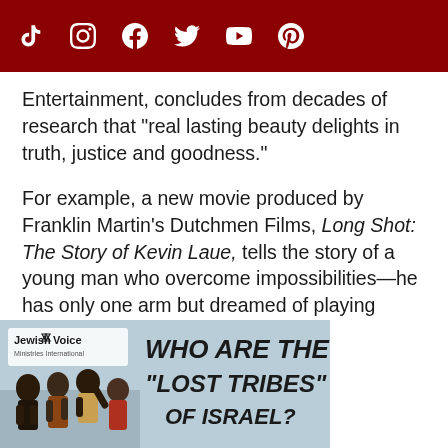Social media icons: TikTok, Instagram, Facebook, Twitter, YouTube, Pinterest
Entertainment, concludes from decades of research that “real lasting beauty delights in truth, justice and goodness.”
For example, a new movie produced by Franklin Martin’s Dutchmen Films, Long Shot: The Story of Kevin Laue, tells the story of a young man who overcome impossibilities—he has only one arm but dreamed of playing Division I basketball.
[Figure (illustration): Advertisement for Jewish Voice ministry showing African children with bold text reading 'WHO ARE THE "LOST TRIBES" OF ISRAEL?']